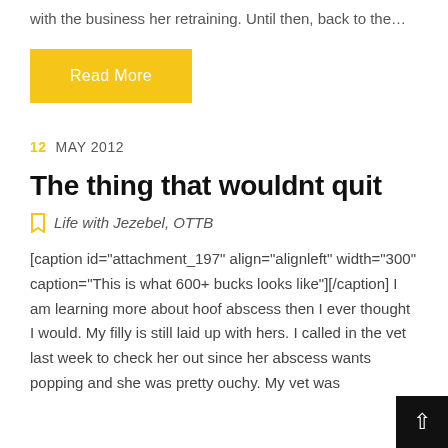with the business her retraining. Until then, back to the…
Read More
12 MAY 2012
The thing that wouldnt quit
Life with Jezebel, OTTB
[caption id="attachment_197" align="alignleft" width="300" caption="This is what 600+ bucks looks like"][/caption] I am learning more about hoof abscess then I ever thought I would. My filly is still laid up with hers. I called in the vet last week to check her out since her abscess wants popping and she was pretty ouchy. My vet was